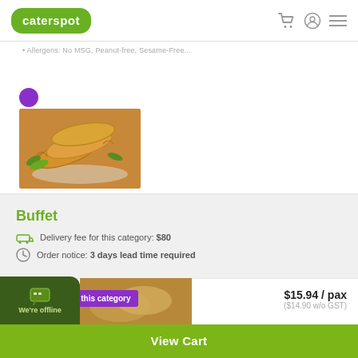caterspot
[Figure (photo): Spring rolls on a plate with green garnish]
Buffet
Delivery fee for this category: $80
Order notice: 3 days lead time required
Most popular in this category
$15.94 / pax
($14.90 w/o GST)
uffet
We're offline
View Cart